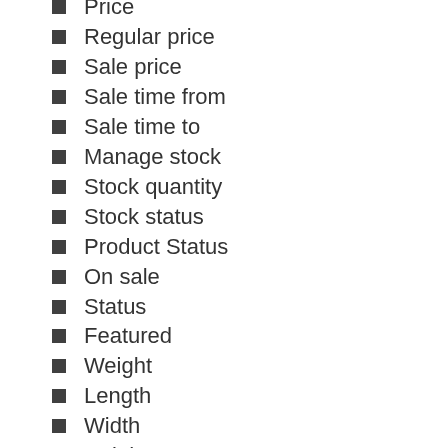Price
Regular price
Sale price
Sale time from
Sale time to
Manage stock
Stock quantity
Stock status
Product Status
On sale
Status
Featured
Weight
Length
Width
Height
Featured
Upsells
Cross-sells